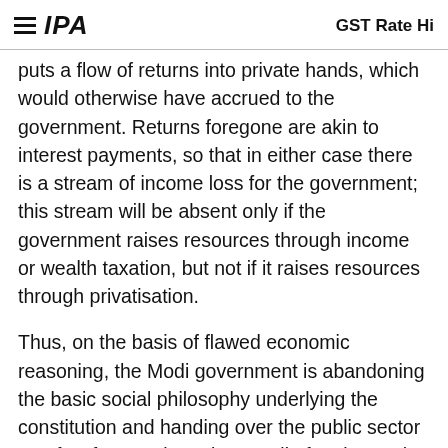IPA   GST Rate Hi
puts a flow of returns into private hands, which would otherwise have accrued to the government. Returns foregone are akin to interest payments, so that in either case there is a stream of income loss for the government; this stream will be absent only if the government raises resources through income or wealth taxation, but not if it raises resources through privatisation.
Thus, on the basis of flawed economic reasoning, the Modi government is abandoning the basic social philosophy underlying the constitution and handing over the public sector to a few favoured cronies. Modi often brags that his government is free of corruption. The proposed privatisation of